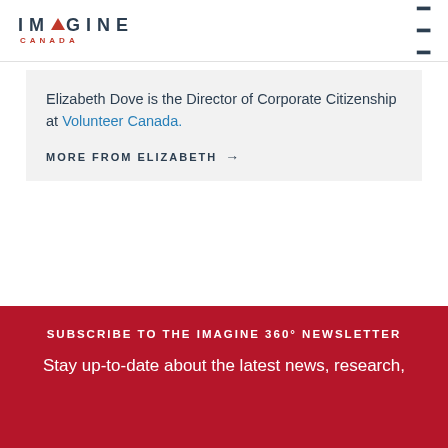IMAGINE CANADA
Elizabeth Dove is the Director of Corporate Citizenship at Volunteer Canada.
MORE FROM ELIZABETH →
SUBSCRIBE TO THE IMAGINE 360° NEWSLETTER
Stay up-to-date about the latest news, research,